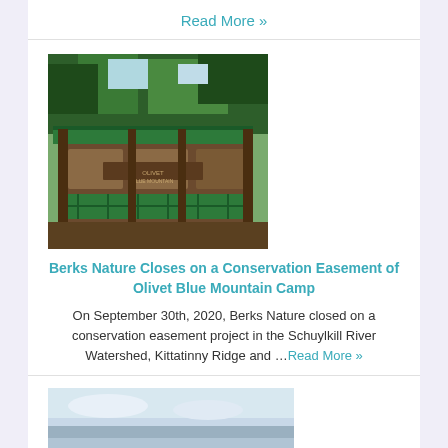Read More »
[Figure (photo): Exterior photo of Olivet Blue Mountain Camp building with green awnings and trees]
Berks Nature Closes on a Conservation Easement of Olivet Blue Mountain Camp
On September 30th, 2020, Berks Nature closed on a conservation easement project in the Schuylkill River Watershed, Kittatinny Ridge and …Read More »
[Figure (photo): Partially visible photo at bottom of page, appears to show a landscape with sky]